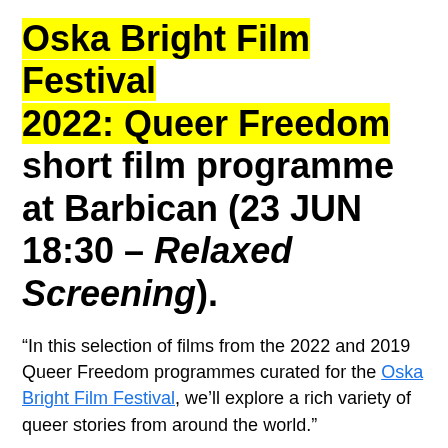Oska Bright Film Festival 2022: Queer Freedom short film programme at Barbican (23 JUN 18:30 – Relaxed Screening).
“In this selection of films from the 2022 and 2019 Queer Freedom programmes curated for the Oska Bright Film Festival, we’ll explore a rich variety of queer stories from around the world.”
“From enriching encounters with drag queens to touching animated shorts, from quirky melodramas told entirely through feet to a gay teen romance sure to appeal to